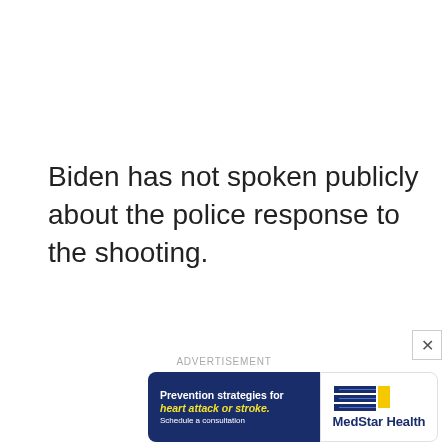Biden has not spoken publicly about the police response to the shooting.
ADVERTISEMENT
[Figure (other): MedStar Health advertisement banner: 'Prevention strategies for heart attack or stroke. Schedule a consultation.' with MedStar Health logo on a navy and white background.]